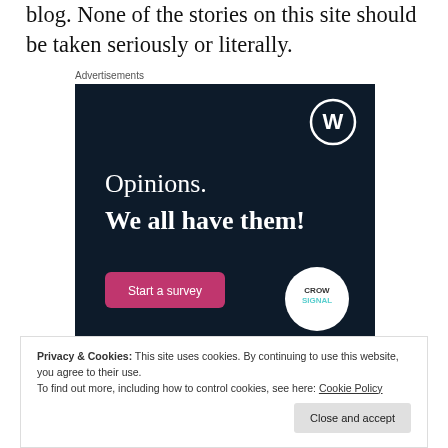blog. None of the stories on this site should be taken seriously or literally.
Advertisements
[Figure (illustration): Dark navy advertisement banner with WordPress logo (W in circle) top right. Text reads 'Opinions. We all have them!' with a pink 'Start a survey' button bottom left and a white Crowdsignal logo circle bottom right.]
Privacy & Cookies: This site uses cookies. By continuing to use this website, you agree to their use.
To find out more, including how to control cookies, see here: Cookie Policy
Close and accept